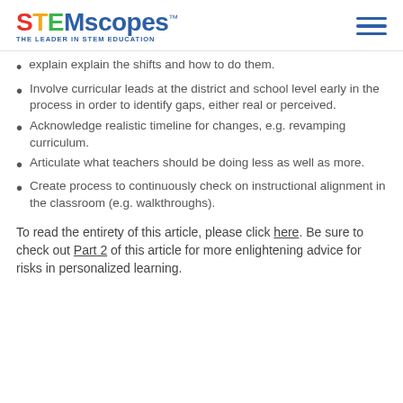STEMscopes™ THE LEADER IN STEM EDUCATION
explain explain the shifts and how to do them.
Involve curricular leads at the district and school level early in the process in order to identify gaps, either real or perceived.
Acknowledge realistic timeline for changes, e.g. revamping curriculum.
Articulate what teachers should be doing less as well as more.
Create process to continuously check on instructional alignment in the classroom (e.g. walkthroughs).
To read the entirety of this article, please click here. Be sure to check out Part 2 of this article for more enlightening advice for risks in personalized learning.